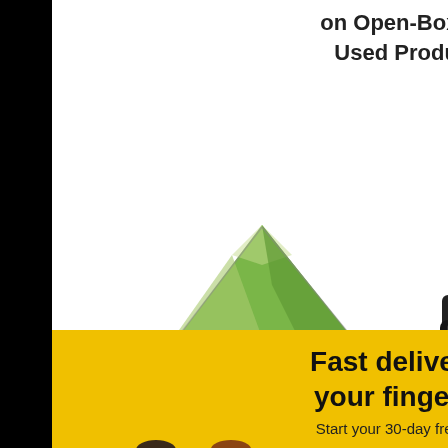[Figure (advertisement): Amazon Warehouse Deals advertisement showing a green camping tent and a DSLR camera on white background, with text 'on Open-Box and Used Products', 'Shop now' link, Amazon Warehouse Deals logo, and Privacy label at bottom left.]
[Figure (advertisement): Amazon Prime advertisement on yellow/gold background with text 'Fast delivery at your fingertips', 'Start your 30-day free trial', Amazon Prime logo, and illustrated characters at bottom left.]